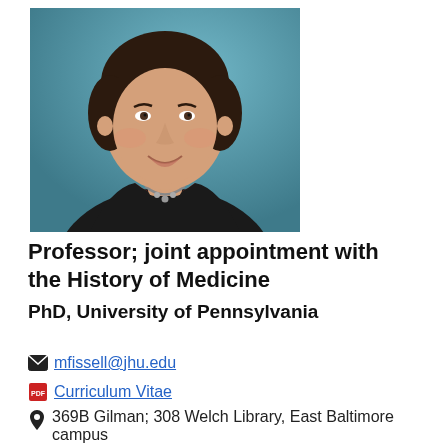[Figure (photo): Professional headshot of a woman with short dark hair, wearing a black jacket with red collar accent and a silver necklace, smiling, against a teal/blue background.]
Professor; joint appointment with the History of Medicine
PhD, University of Pennsylvania
mfissell@jhu.edu
Curriculum Vitae
369B Gilman; 308 Welch Library, East Baltimore campus